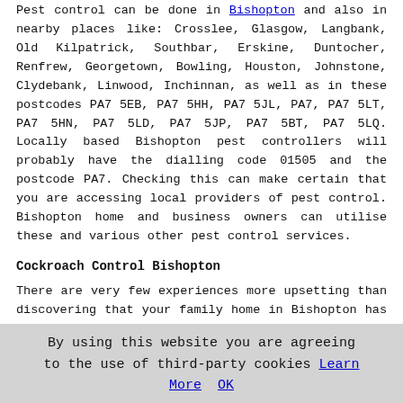Pest control can be done in Bishopton and also in nearby places like: Crosslee, Glasgow, Langbank, Old Kilpatrick, Southbar, Erskine, Duntocher, Renfrew, Georgetown, Bowling, Houston, Johnstone, Clydebank, Linwood, Inchinnan, as well as in these postcodes PA7 5EB, PA7 5HH, PA7 5JL, PA7, PA7 5LT, PA7 5HN, PA7 5LD, PA7 5JP, PA7 5BT, PA7 5LQ. Locally based Bishopton pest controllers will probably have the dialling code 01505 and the postcode PA7. Checking this can make certain that you are accessing local providers of pest control. Bishopton home and business owners can utilise these and various other pest control services.
Cockroach Control Bishopton
There are very few experiences more upsetting than discovering that your family home in Bishopton has become infested with cockroaches. Noticing one lone cockroach, either dead or alive, isn't a certain sign that you've got an infestation. Neither is there any guarantee that your property is infested, even when you've seen 2 or 3 adult cockroaches. When they literally start to breed in your home, you can safely consider that you do have an infestation.
During the
By using this website you are agreeing to the use of third-party cookies Learn More OK